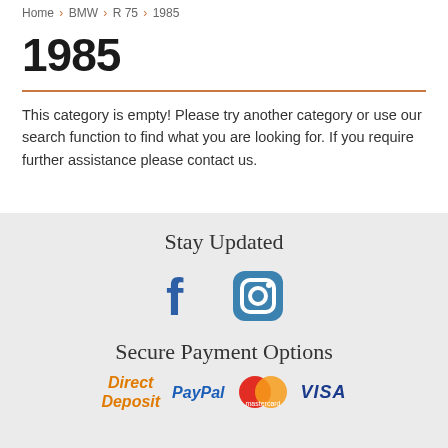Home > BMW > R 75 > 1985
1985
This category is empty! Please try another category or use our search function to find what you are looking for. If you require further assistance please contact us.
Stay Updated
[Figure (illustration): Facebook and Instagram social media icons in dark blue color]
Secure Payment Options
[Figure (illustration): Payment method logos: Direct Deposit (orange text), PayPal (blue text), Mastercard (red/orange circles), VISA (blue text)]